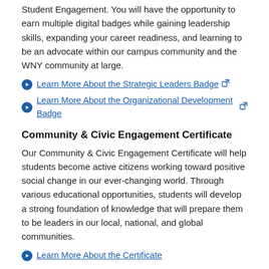Student Engagement. You will have the opportunity to earn multiple digital badges while gaining leadership skills, expanding your career readiness, and learning to be an advocate within our campus community and the WNY community at large.
Learn More About the Strategic Leaders Badge
Learn More About the Organizational Development Badge
Community & Civic Engagement Certificate
Our Community & Civic Engagement Certificate will help students become active citizens working toward positive social change in our ever-changing world. Through various educational opportunities, students will develop a strong foundation of knowledge that will prepare them to be leaders in our local, national, and global communities.
Learn More About the Certificate
Getting Started
Step 1